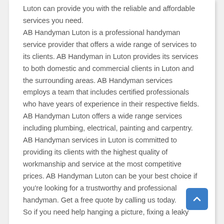Luton can provide you with the reliable and affordable services you need. AB Handyman Luton is a professional handyman service provider that offers a wide range of services to its clients. AB Handyman in Luton provides its services to both domestic and commercial clients in Luton and the surrounding areas. AB Handyman services employs a team that includes certified professionals who have years of experience in their respective fields. AB Handyman Luton offers a wide range services including plumbing, electrical, painting and carpentry. AB Handyman services in Luton is committed to providing its clients with the highest quality of workmanship and service at the most competitive prices. AB Handyman Luton can be your best choice if you're looking for a trustworthy and professional handyman. Get a free quote by calling us today. So if you need help hanging a picture, fixing a leaky